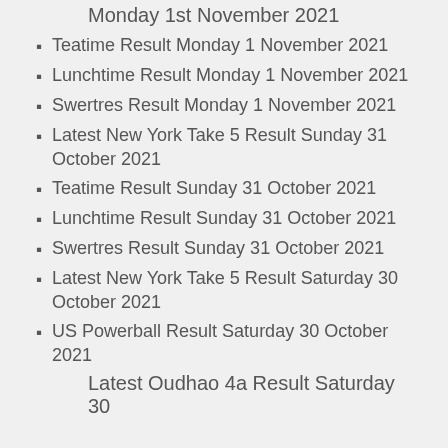Monday 1st November 2021
Teatime Result Monday 1 November 2021
Lunchtime Result Monday 1 November 2021
Swertres Result Monday 1 November 2021
Latest New York Take 5 Result Sunday 31 October 2021
Teatime Result Sunday 31 October 2021
Lunchtime Result Sunday 31 October 2021
Swertres Result Sunday 31 October 2021
Latest New York Take 5 Result Saturday 30 October 2021
US Powerball Result Saturday 30 October 2021
Latest Oudhao 4a Result Saturday 30…